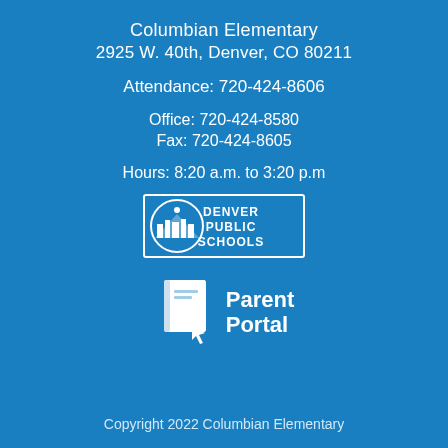Columbian Elementary
2925 W. 40th, Denver, CO 80211
Attendance: 720-424-8606
Office: 720-424-8580
Fax: 720-424-8605
Hours: 8:20 a.m. to 3:20 p.m
[Figure (logo): Denver Public Schools logo — white rectangle with circle icon and text DENVER PUBLIC SCHOOLS]
[Figure (logo): Parent Portal logo — white book/portal icon with text Parent Portal]
Copyright 2022 Columbian Elementary